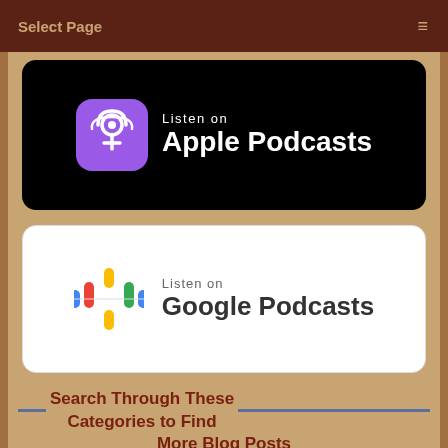Select Page
[Figure (logo): Listen on Apple Podcasts badge: black rounded rectangle with purple podcast icon and white text 'Listen on Apple Podcasts']
[Figure (logo): Listen on Google Podcasts badge: white rounded rectangle with Google Podcasts microphone icon and text 'Listen on Google Podcasts']
Search Through These Categories to Find More Blog Posts
Advocacy
After Caregiving
Aging Issues & Solutions